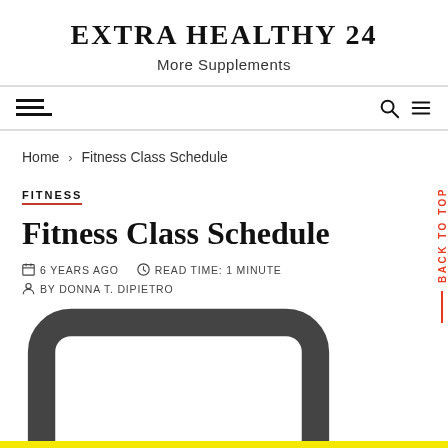EXTRA HEALTHY 24 — More Supplements
Home › Fitness Class Schedule
FITNESS
Fitness Class Schedule
6 YEARS AGO   READ TIME: 1 MINUTE   BY DONNA T. DIPIETRO   LEAVE A COMMENT